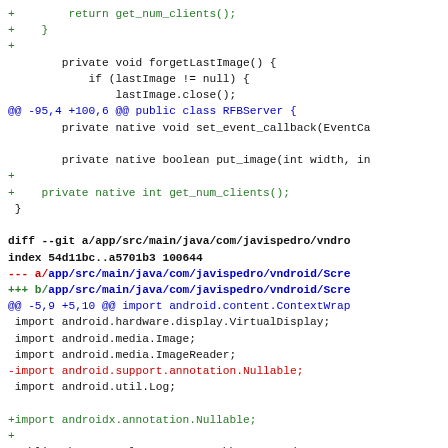[Figure (screenshot): Code diff showing Java source changes including additions of get_num_clients() method and import statement changes replacing android.support.annotation.Nullable with androidx.annotation.Nullable in ScreenGrabber class]